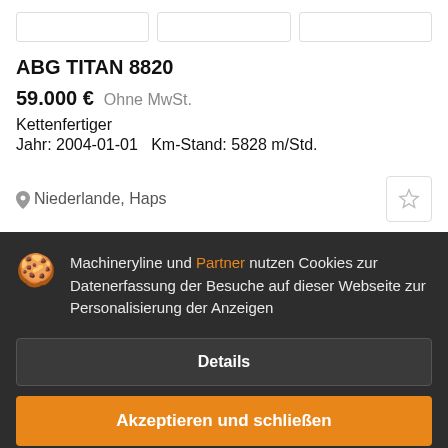ABG TITAN 8820
59.000 €  Ohne MwSt.
Kettenfertiger
Jahr: 2004-01-01   Km-Stand: 5828 m/Std.
Niederlande, Haps
Machineryline und Partner nutzen Cookies zur Datenerfassung der Besuche auf dieser Webseite zur Personalisierung der Anzeigen
Details
Akzeptieren und schließen
AB...
11.950 €  Ohne MwSt.